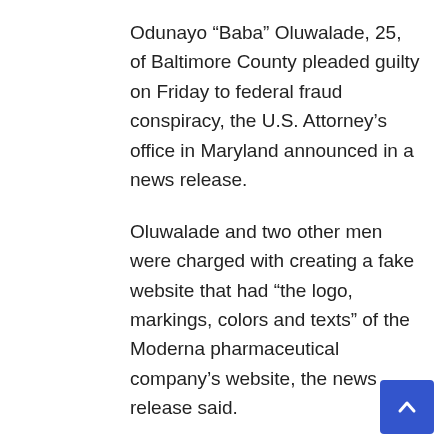Odunayo “Baba” Oluwalade, 25, of Baltimore County pleaded guilty on Friday to federal fraud conspiracy, the U.S. Attorney’s office in Maryland announced in a news release.
Oluwalade and two other men were charged with creating a fake website that had “the logo, markings, colors and texts” of the Moderna pharmaceutical company’s website, the news release said.
The fake website offered buyers the opportunity to purchase the vaccine “ahead of time,” the release stated. Covid-19 vaccines are free, according to the CDC.
The scheme was uncovered in January after a special agent with Homeland Security